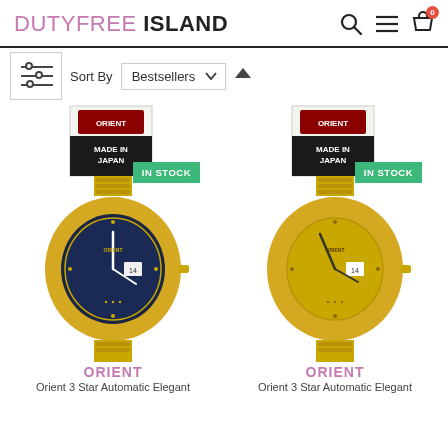DUTYFREE ISLAND
Sort By  Bestsellers
[Figure (photo): Two Orient 3 Star Automatic Elegant gold watches with dark blue and gold dials respectively, each with 'Made in Japan' tag and 'IN STOCK' green badge]
ORIENT
Orient 3 Star Automatic Elegant
ORIENT
Orient 3 Star Automatic Elegant